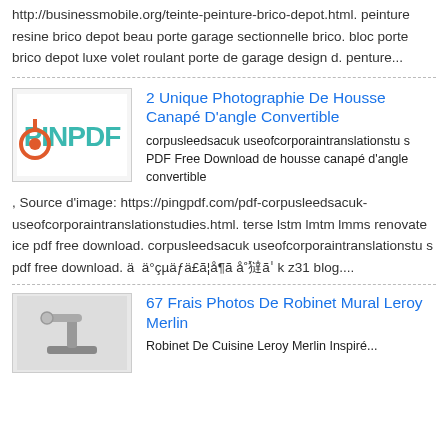http://businessmobile.org/teinte-peinture-brico-depot.html. peinture resine brico depot beau porte garage sectionnelle brico. bloc porte brico depot luxe volet roulant porte de garage design d. penture...
2 Unique Photographie De Housse Canapé D'angle Convertible
corpusleedsacuk useofcorporaintranslationstu s PDF Free Download de housse canapé d'angle convertible , Source d'image: https://pingpdf.com/pdf-corpusleedsacuk-useofcorporaintranslationstudies.html. terse lstm lmtm lmms renovate ice pdf free download. corpusleedsacuk useofcorporaintranslationstu s pdf free download. ä  ä°çµää£ã¦å¶ã å˚㺚ãˈ k z31 blog....
67 Frais Photos De Robinet Mural Leroy Merlin
Robinet De Cuisine Leroy Merlin Inspiré...